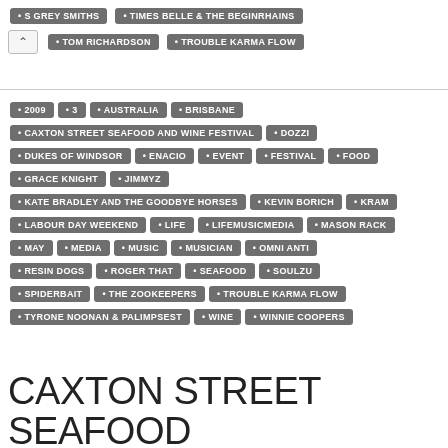• S GREY SMITHS • TIMES BELLE & THE BEGINRHAINS
• TOM RICHARDSON • TROUBLE KARMA FLOW
• 2009 • 3 • AUSTRALIA • BRISBANE
• CAXTON STREET SEAFOOD AND WINE FESTIVAL • DOZZI
• DUKES OF WINDSOR • ENACIO • EVENT • FESTIVAL • FOOD
• GRACE KNIGHT • JIMMYZ
• KATE BRADLEY AND THE GOODBYE HORSES • KEVIN BORICH • KRAM
• LABOUR DAY WEEKEND • LIFE • LIFEMUSICMEDIA • MASON RACK
• MAY • MEDIA • MUSIC • MUSICIAN • OMNI ANTI
• RESIN DOGS • ROGER THAT • SEAFOOD • SOULZU
• SPIDERBAIT • THE ZOOKEEPERS • TROUBLE KARMA FLOW
• TYRONE NOONAN & PALIMPSEST • WINE • WINNIE COOPERS
CAXTON STREET SEAFOOD AND WINE FESTIVAL 2009